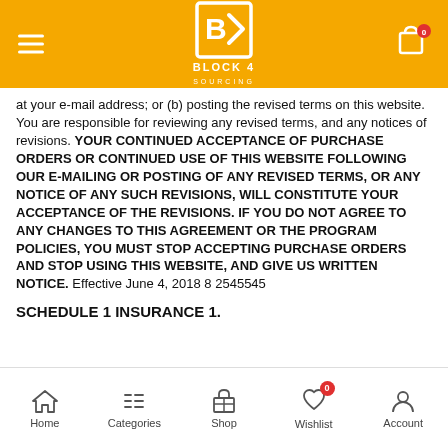Block 4 Sourcing - navigation header with logo
at your e-mail address; or (b) posting the revised terms on this website. You are responsible for reviewing any revised terms, and any notices of revisions. YOUR CONTINUED ACCEPTANCE OF PURCHASE ORDERS OR CONTINUED USE OF THIS WEBSITE FOLLOWING OUR E-MAILING OR POSTING OF ANY REVISED TERMS, OR ANY NOTICE OF ANY SUCH REVISIONS, WILL CONSTITUTE YOUR ACCEPTANCE OF THE REVISIONS. IF YOU DO NOT AGREE TO ANY CHANGES TO THIS AGREEMENT OR THE PROGRAM POLICIES, YOU MUST STOP ACCEPTING PURCHASE ORDERS AND STOP USING THIS WEBSITE, AND GIVE US WRITTEN NOTICE. Effective June 4, 2018 8 2545545
SCHEDULE 1 INSURANCE 1.
Home | Categories | Shop | Wishlist | Account